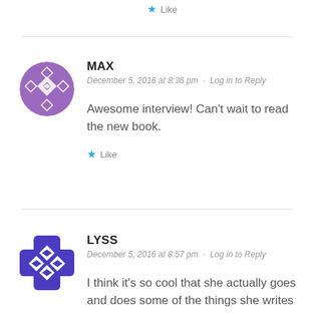Like
MAX
December 5, 2016 at 8:36 pm · Log in to Reply
Awesome interview! Can't wait to read the new book.
Like
LYSS
December 5, 2016 at 8:57 pm · Log in to Reply
I think it's so cool that she actually goes and does some of the things she writes